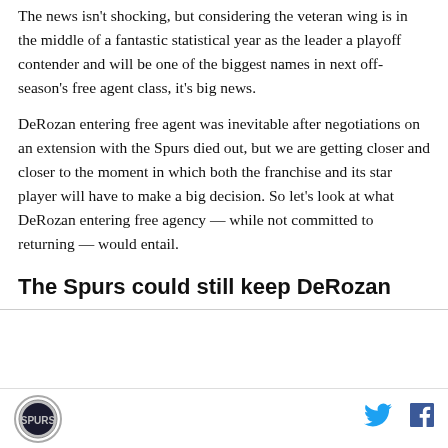The news isn't shocking, but considering the veteran wing is in the middle of a fantastic statistical year as the leader a playoff contender and will be one of the biggest names in next off-season's free agent class, it's big news.
DeRozan entering free agent was inevitable after negotiations on an extension with the Spurs died out, but we are getting closer and closer to the moment in which both the franchise and its star player will have to make a big decision. So let's look at what DeRozan entering free agency — while not committed to returning — would entail.
The Spurs could still keep DeRozan
[Figure (logo): San Antonio Spurs circular logo]